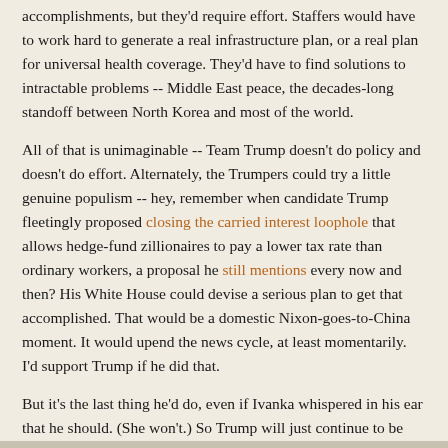accomplishments, but they'd require effort. Staffers would have to work hard to generate a real infrastructure plan, or a real plan for universal health coverage. They'd have to find solutions to intractable problems -- Middle East peace, the decades-long standoff between North Korea and most of the world.
All of that is unimaginable -- Team Trump doesn't do policy and doesn't do effort. Alternately, the Trumpers could try a little genuine populism -- hey, remember when candidate Trump fleetingly proposed closing the carried interest loophole that allows hedge-fund zillionaires to pay a lower tax rate than ordinary workers, a proposal he still mentions every now and then? His White House could devise a serious plan to get that accomplished. That would be a domestic Nixon-goes-to-China moment. It would upend the news cycle, at least momentarily. I'd support Trump if he did that.
But it's the last thing he'd do, even if Ivanka whispered in his ear that he should. (She won't.) So Trump will just continue to be Trump. Impeachment is bringing out the worst, least likable side of him, just as we're entering election season. That's a good thing.